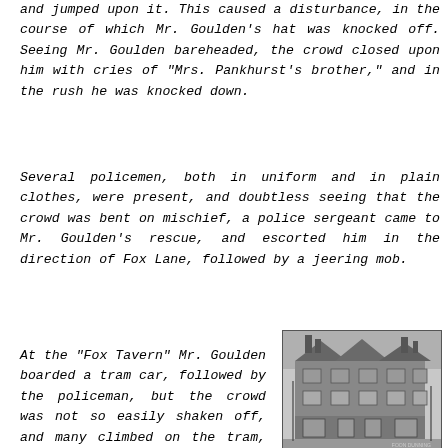and jumped upon it. This caused a disturbance, in the course of which Mr. Goulden's hat was knocked off. Seeing Mr. Goulden bareheaded, the crowd closed upon him with cries of "Mrs. Pankhurst's brother," and in the rush he was knocked down.
Several policemen, both in uniform and in plain clothes, were present, and doubtless seeing that the crowd was bent on mischief, a police sergeant came to Mr. Goulden's rescue, and escorted him in the direction of Fox Lane, followed by a jeering mob.
At the "Fox Tavern" Mr. Goulden boarded a tram car, followed by the policeman, but the crowd was not so easily shaken off, and many climbed on the tram, while others followed on bicycles. Meanwhile, at the Triangle, the meeting had to be abandoned.
[Figure (photo): Black and white photograph of The Fox Tavern, a large Victorian building in Palmers Green, on the corner of Fox Lane and Green Lanes.]
The Fox Tavern in Palmers Green, on the corner of Fox Lane and Green Lanes.